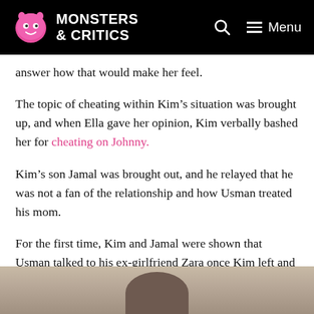Monsters & Critics
answer how that would make her feel.
The topic of cheating within Kim’s situation was brought up, and when Ella gave her opinion, Kim verbally bashed her for cheating on Johnny.
Kim’s son Jamal was brought out, and he relayed that he was not a fan of the relationship and how Usman treated his mom.
For the first time, Kim and Jamal were shown that Usman talked to his ex-girlfriend Zara once Kim left and Kim felt so disrespected she left the stage.
[Figure (photo): Bottom portion of an image showing a person, partially visible at the bottom of the page.]